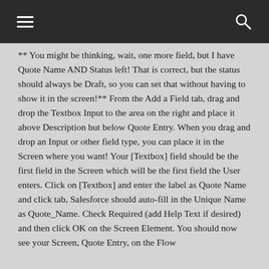≡  🔍
** You might be thinking, wait, one more field, but I have Quote Name AND Status left!  That is correct, but the status should always be Draft, so you can set that without having to show it in the screen!**  From the Add a Field tab, drag and drop the Textbox Input to the area on the right and place it above Description but below Quote Entry.  When you drag and drop an Input or other field type, you can place it in the Screen where you want!  Your [Textbox] field should be the first field in the Screen which will be the first field the User enters.  Click on [Textbox] and enter the label as Quote Name and click tab, Salesforce should auto-fill in the Unique Name as Quote_Name.  Check Required (add Help Text if desired) and then click OK on the Screen Element.  You should now see your Screen, Quote Entry, on the Flow